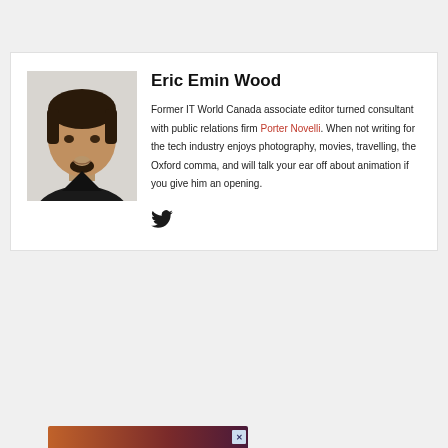[Figure (photo): Headshot photo of Eric Emin Wood, a young man with dark hair and a goatee, wearing a dark shirt, against a light background]
Eric Emin Wood
Former IT World Canada associate editor turned consultant with public relations firm Porter Novelli. When not writing for the tech industry enjoys photography, movies, travelling, the Oxford comma, and will talk your ear off about animation if you give him an opening.
[Figure (other): Twitter bird icon (social media link)]